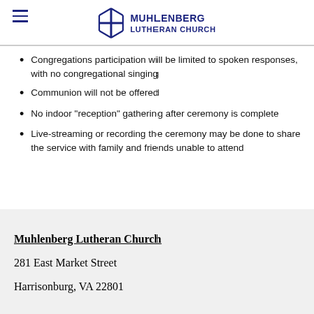Muhlenberg Lutheran Church
Congregations participation will be limited to spoken responses, with no congregational singing
Communion will not be offered
No indoor "reception" gathering after ceremony is complete
Live-streaming or recording the ceremony may be done to share the service with family and friends unable to attend
Muhlenberg Lutheran Church
281 East Market Street
Harrisonburg, VA 22801